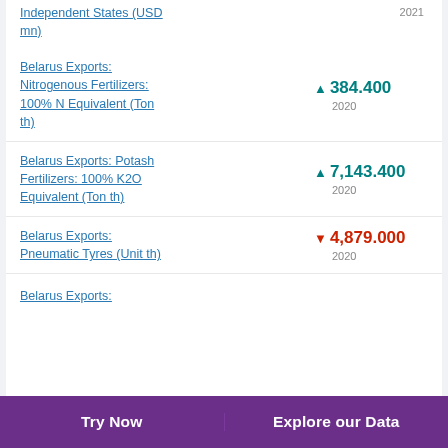Independent States (USD mn)
Belarus Exports: Nitrogenous Fertilizers: 100% N Equivalent (Ton th)
Belarus Exports: Potash Fertilizers: 100% K2O Equivalent (Ton th)
Belarus Exports: Pneumatic Tyres (Unit th)
Belarus Exports:
Try Now    Explore our Data